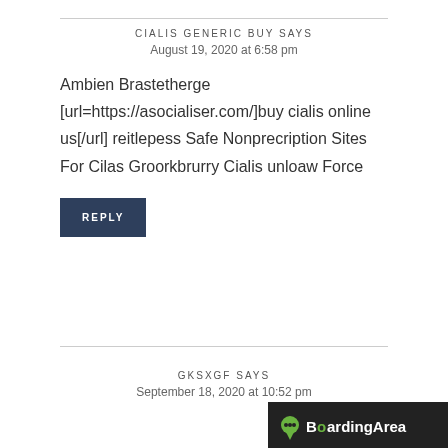CIALIS GENERIC BUY SAYS
August 19, 2020 at 6:58 pm
Ambien Brastetherge [url=https://asocialiser.com/]buy cialis online us[/url] reitlepess Safe Nonprecription Sites For Cilas Groorkbrurry Cialis unloaw Force
REPLY
GKSXGF SAYS
September 18, 2020 at 10:52 pm
[Figure (logo): BoardingArea logo badge in dark background with green speech bubble dot]